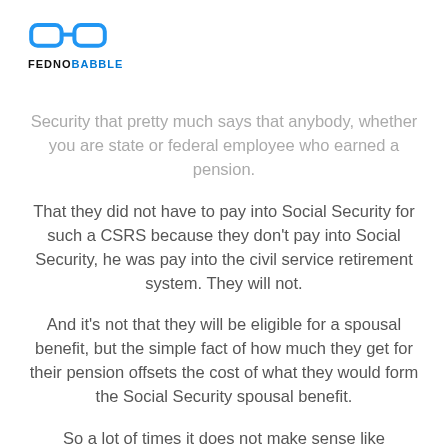FEDNOBABBLE
Security that pretty much says that anybody, whether you are state or federal employee who earned a pension.
That they did not have to pay into Social Security for such a CSRS because they don't pay into Social Security, he was pay into the civil service retirement system. They will not.
And it's not that they will be eligible for a spousal benefit, but the simple fact of how much they get for their pension offsets the cost of what they would form the Social Security spousal benefit.
So a lot of times it does not make sense like